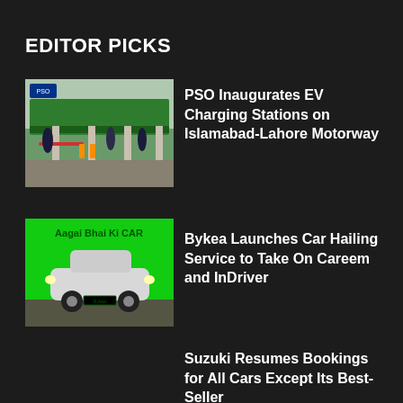EDITOR PICKS
[Figure (photo): PSO EV charging station with green canopy, people visible underneath]
PSO Inaugurates EV Charging Stations on Islamabad-Lahore Motorway
[Figure (photo): Bykea car hailing ad image with green background, white car, text 'Aagai Bhai Ki CAR']
Bykea Launches Car Hailing Service to Take On Careem and InDriver
Suzuki Resumes Bookings for All Cars Except Its Best-Seller